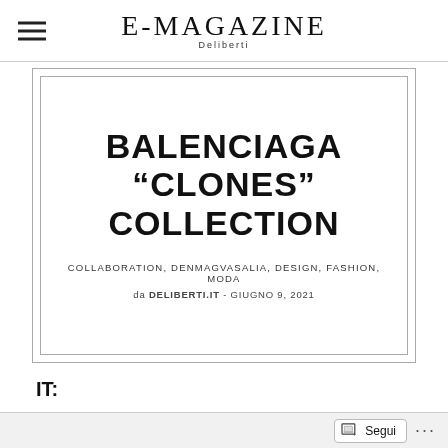E-MAGAZINE Deliberti
BALENCIAGA “CLONES” COLLECTION
COLLABORATION, DENMAGVASALIA, DESIGN, FASHION, MODA
da DELIBERTI.IT - GIUGNO 9, 2021
IT:
Qualche volta ritornano, anche i cloni. Così il